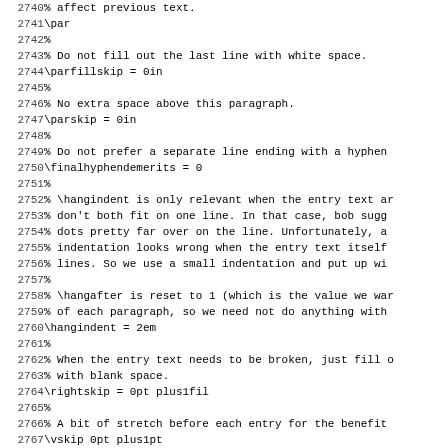Code listing lines 2740-2771, TeX/LaTeX source code with comments and commands including \par, \parfillskip, \parskip, \finalhyphendemerits, \hangindent, \rightskip, \vskip, \noindent